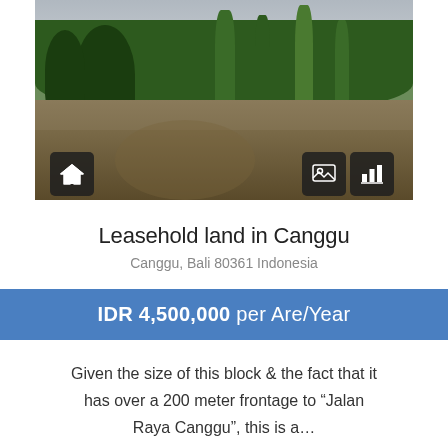[Figure (photo): Leasehold land in Canggu — photograph of rice paddy field with tropical trees and palm trees in background, overcast sky]
Leasehold land in Canggu
Canggu, Bali 80361 Indonesia
IDR 4,500,000 per Are/Year
Given the size of this block & the fact that it has over a 200 meter frontage to "Jalan Raya Canggu", this is a...